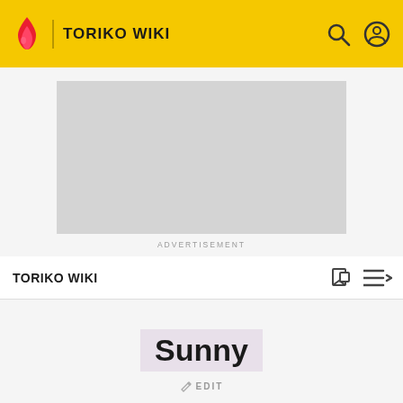TORIKO WIKI
[Figure (other): Advertisement placeholder box (gray rectangle)]
ADVERTISEMENT
TORIKO WIKI
Sunny
EDIT